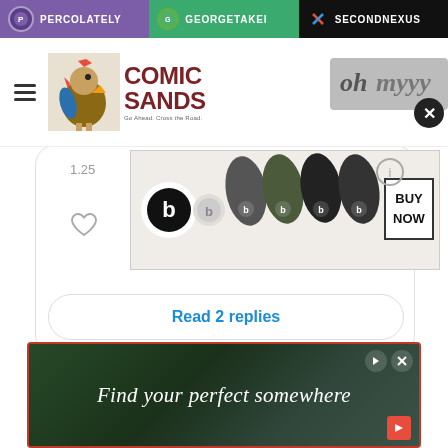PERCOLATELY | GEORGETAKEI | SECONDNEXUS
[Figure (logo): Comic Sands logo with rooster illustration]
[Figure (photo): Beats by Dre wireless earbuds advertisement with BUY NOW button]
Read 2 replies
[Figure (photo): Find your perfect somewhere travel advertisement banner]